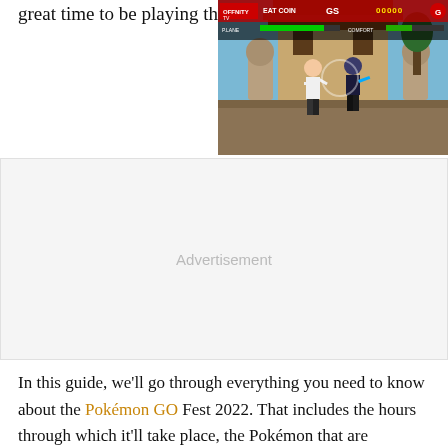great time to be playing the
[Figure (screenshot): A screenshot of a fighting video game showing two characters fighting on a stage with a pagoda background. The HUD shows health bars, scores, and a round indicator at the top.]
Advertisement
In this guide, we'll go through everything you need to know about the Pokémon GO Fest 2022. That includes the hours through which it'll take place, the Pokémon that are guaranteed to appear, and a breakdown of the various habitats that will feature. It's going to be a busy weekend in-game, so these details are key if you plan on taking part.